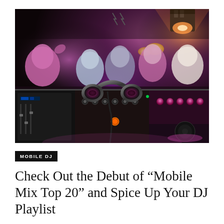[Figure (photo): A DJ booth in the foreground with headphones resting on a mixing console, with colorful purple and warm lighting illuminating a crowded dance floor in the background.]
MOBILE DJ
Check Out the Debut of “Mobile Mix Top 20” and Spice Up Your DJ Playlist